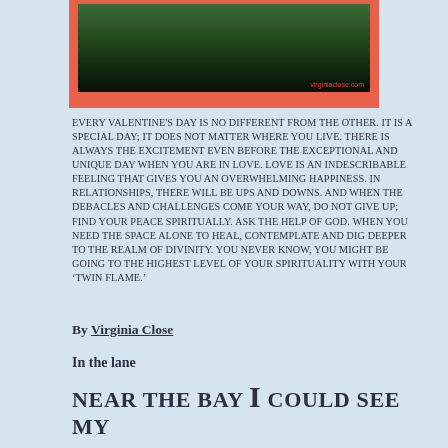[Figure (photo): Dark green foliage/tree image on a salmon/coral red background. Watermark reads 'virginiaclose.com' in bottom right corner.]
EVERY VALENTINE'S DAY IS NO DIFFERENT FROM THE OTHER. IT IS A SPECIAL DAY; IT DOES NOT MATTER WHERE YOU LIVE. THERE IS ALWAYS THE EXCITEMENT EVEN BEFORE THE EXCEPTIONAL AND UNIQUE DAY WHEN YOU ARE IN LOVE. LOVE IS AN INDESCRIBABLE FEELING THAT GIVES YOU AN OVERWHELMING HAPPINESS. IN RELATIONSHIPS, THERE WILL BE UPS AND DOWNS. AND WHEN THE DEBACLES AND CHALLENGES COME YOUR WAY, DO NOT GIVE UP; FIND YOUR PEACE SPIRITUALLY. ASK THE HELP OF GOD. WHEN YOU NEED THE SPACE ALONE TO HEAL, CONTEMPLATE AND DIG DEEPER TO THE REALM OF DIVINITY. YOU NEVER KNOW, YOU MIGHT BE GOING TO THE HIGHEST LEVEL OF YOUR SPIRITUALITY WITH YOUR ‘TWIN FLAME.’
By Virginia Close
In the lane
NEAR THE BAY I COULD SEE MY